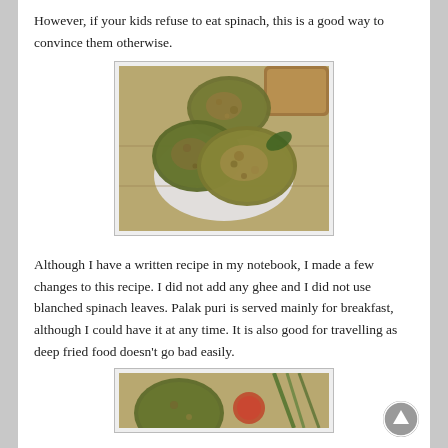However, if your kids refuse to eat spinach, this is a good way to convince them otherwise.
[Figure (photo): Close-up photo of palak puri (spinach deep fried bread) on a white plate, showing green-brown textured rounds]
Although I have a written recipe in my notebook, I made a few changes to this recipe. I did not add any ghee and I did not use blanched spinach leaves. Palak puri is served mainly for breakfast, although I could have it at any time. It is also good for travelling as deep fried food doesn't go bad easily.
[Figure (photo): Another photo of palak puri (spinach fried bread) partially visible at the bottom of the page]